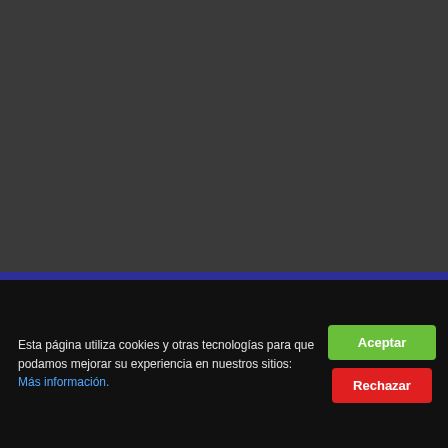[Figure (screenshot): Dark grey background section of a webpage]
TU TALLER DE CONFIANZA
MULTI WORKSHOP
Wide range of services available
YOUR TRUSTED WORKSHOP
Esta página utiliza cookies y otras tecnologías para que podamos mejorar su experiencia en nuestros sitios: Más información.